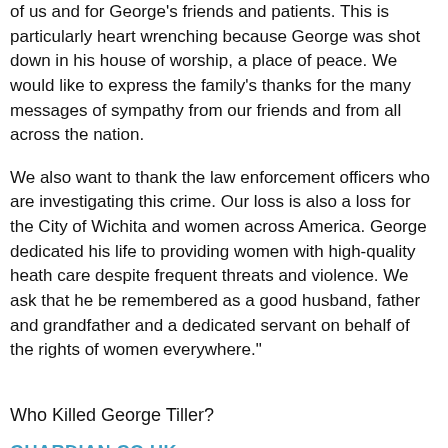of us and for George's friends and patients. This is particularly heart wrenching because George was shot down in his house of worship, a place of peace. We would like to express the family's thanks for the many messages of sympathy from our friends and from all across the nation.
We also want to thank the law enforcement officers who are investigating this crime. Our loss is also a loss for the City of Wichita and women across America. George dedicated his life to providing women with high-quality heath care despite frequent threats and violence. We ask that he be remembered as a good husband, father and grandfather and a dedicated servant on behalf of the rights of women everywhere."
Who Killed George Tiller?
GUARDIAN.CO.UK